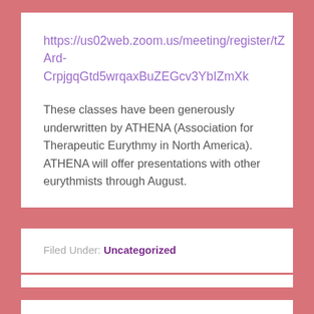https://us02web.zoom.us/meeting/register/tZArd-CrpjgqGtd5wrqaxBuZEGcv3YbIZmXk
These classes have been generously underwritten by ATHENA (Association for Therapeutic Eurythmy in North America). ATHENA will offer presentations with other eurythmists through August.
Filed Under: Uncategorized